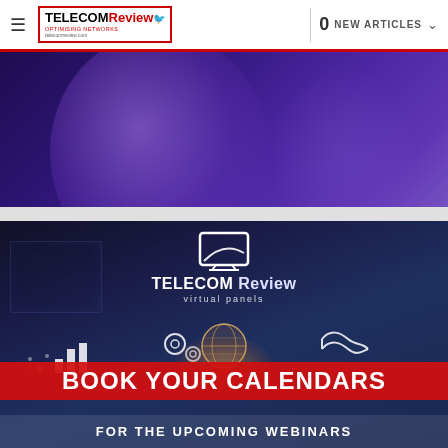≡ TELECOM Review | 0 NEW ARTICLES ∨
[Figure (photo): Dark purple/violet abstract background image, upper portion of a webpage]
[Figure (illustration): Telecom Review Virtual Panels promotional banner with monitor icon, icons for analytics, gears, handshake, globe, with text BOOK YOUR CALENDARS FOR THE UPCOMING WEBINARS on dark blue background with red banner]